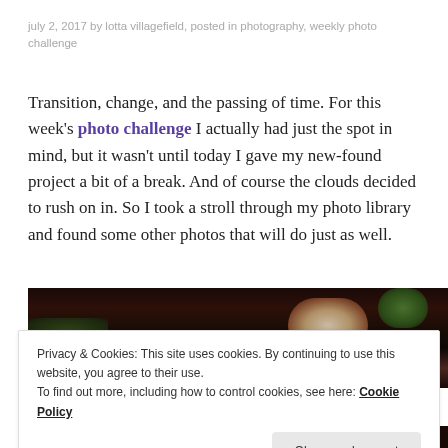july 2, 2017 by lotta villagefield, posted in photography, weekly photo challenge
Transition, change, and the passing of time. For this week's photo challenge I actually had just the spot in mind, but it wasn't until today I gave my new-found project a bit of a break. And of course the clouds decided to rush on in. So I took a stroll through my photo library and found some other photos that will do just as well.
[Figure (photo): Dark close-up nature photo showing branches and blurred white berries or flowers against a dark background with green foliage]
Privacy & Cookies: This site uses cookies. By continuing to use this website, you agree to their use.
To find out more, including how to control cookies, see here: Cookie Policy
Close and accept